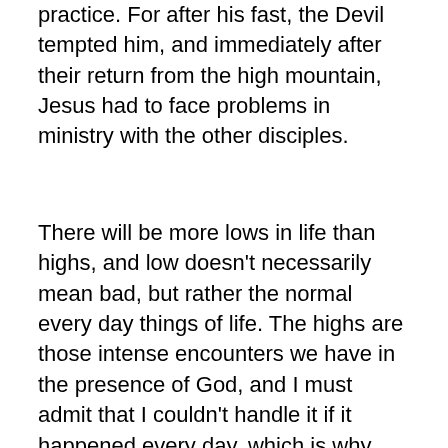practice. For after his fast, the Devil tempted him, and immediately after their return from the high mountain, Jesus had to face problems in ministry with the other disciples.
There will be more lows in life than highs, and low doesn't necessarily mean bad, but rather the normal every day things of life. The highs are those intense encounters we have in the presence of God, and I must admit that I couldn't handle it if it happened every day, which is why those mountain highs last for just a weekend or a short time, as we see in Mark 9, where the majority of this chapter is not concerning the transfiguration, but what happened when they came back down. Likewise, if Jesus had stayed or if they had returned later, then that boy would not have been delivered and the disciples would have missed critical teachings and experience of the work